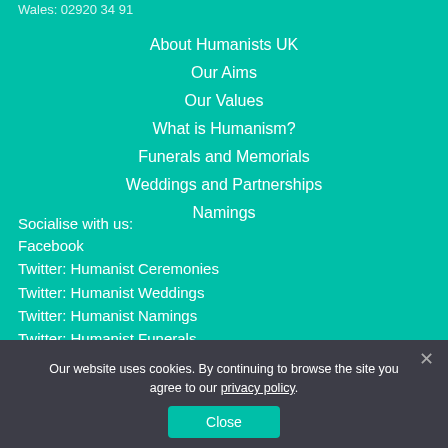Wales: 02920 34 91
About Humanists UK
Our Aims
Our Values
What is Humanism?
Funerals and Memorials
Weddings and Partnerships
Namings
Socialise with us:
Facebook
Twitter: Humanist Ceremonies
Twitter: Humanist Weddings
Twitter: Humanist Namings
Twitter: Humanist Funerals
Instagram
Our website uses cookies. By continuing to browse the site you agree to our privacy policy.